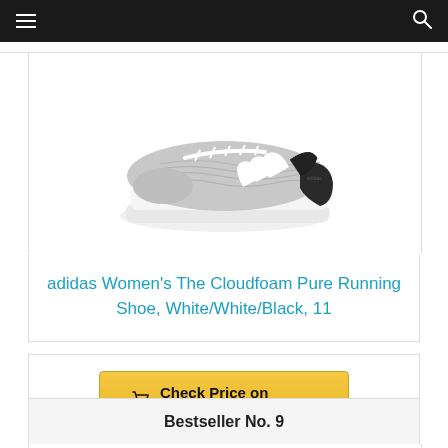Navigation bar with hamburger menu and search icon
[Figure (photo): Adidas women's Cloudfoam Pure running shoe in white/grey knit fabric with white stripes and white sole, photographed on white background]
adidas Women's The Cloudfoam Pure Running Shoe, White/White/Black, 11
Check Price on Amazon
Bestseller No. 9
[Figure (photo): Partial view of another shoe product at bottom of page, mostly cut off]